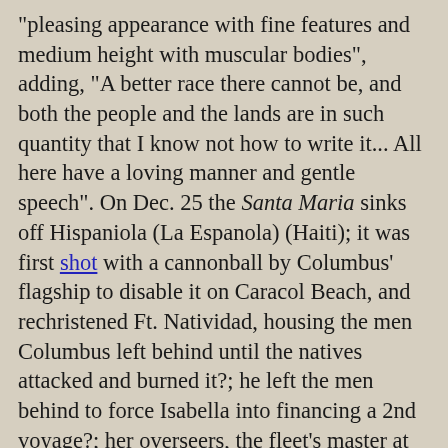"pleasing appearance with fine features and medium height with muscular bodies", adding, "A better race there cannot be, and both the people and the lands are in such quantity that I know not how to write it... All here have a loving manner and gentle speech". On Dec. 25 the Santa Maria sinks off Hispaniola (La Espanola) (Haiti); it was first shot with a cannonball by Columbus' flagship to disable it on Caracol Beach, and rechristened Ft. Natividad, housing the men Columbus left behind until the natives attacked and burned it?; he left the men behind to force Isabella into financing a 2nd voyage?; her overseers, the fleet's master at arms, comptroller, and secy. were left behind to avoid being contradicted when he